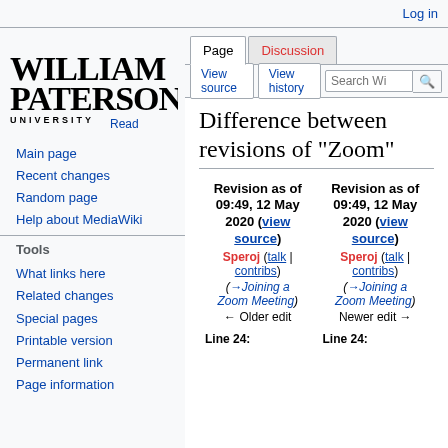Log in
[Figure (logo): William Paterson University logo with stylized text]
Read
Main page
Recent changes
Random page
Help about MediaWiki
Tools
What links here
Related changes
Special pages
Printable version
Permanent link
Page information
Difference between revisions of "Zoom"
| Revision as of 09:49, 12 May 2020 (view source) | Revision as of 09:49, 12 May 2020 (view source) |
| --- | --- |
| Speroj (talk | contribs) | Speroj (talk | contribs) |
| (→Joining a Zoom Meeting) | (→Joining a Zoom Meeting) |
| ← Older edit | Newer edit → |
| Line 24: | Line 24: |